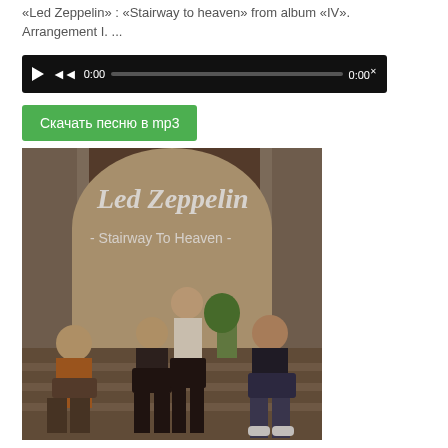«Led Zeppelin» : «Stairway to heaven» from album «IV». Arrangement I. ...
[Figure (screenshot): Audio player widget with black background, play button, rewind button, time display showing 0:00, progress bar, and end time 0:00]
Скачать песню в mp3
[Figure (photo): Led Zeppelin album art for Stairway to Heaven showing the four band members sitting on steps in front of stone columns, with 'Led Zeppelin' in cursive script and '- Stairway To Heaven -' text overlaid on the image]